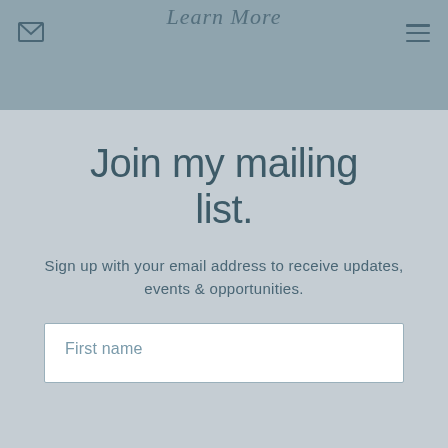Learn More
Join my mailing list.
Sign up with your email address to receive updates, events & opportunities.
First name